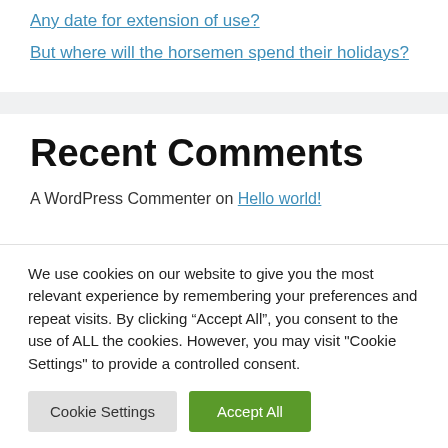Any date for extension of use?
But where will the horsemen spend their holidays?
Recent Comments
A WordPress Commenter on Hello world!
We use cookies on our website to give you the most relevant experience by remembering your preferences and repeat visits. By clicking “Accept All”, you consent to the use of ALL the cookies. However, you may visit "Cookie Settings" to provide a controlled consent.